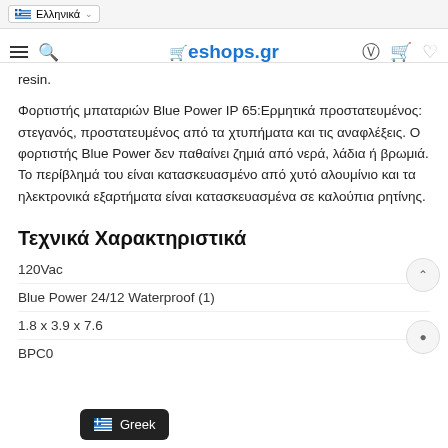eshops.gr — navigation header with language selector (Ελληνικά), hamburger menu, search, logo, user/cart/wishlist icons
resin.
Φορτιστής μπαταριών Blue Power IP 65:Ερμητικά προστατευμένος: στεγανός, προστατευμένος από τα χτυπήματα και τις αναφλέξεις. Ο φορτιστής Blue Power δεν παθαίνει ζημιά από νερά, λάδια ή βρωμιά. Το περίβλημά του είναι κατασκευασμένο από χυτό αλουμίνιο και τα ηλεκτρονικά εξαρτήματα είναι κατασκευασμένα σε καλούπια ρητίνης.
Τεχνικά Χαρακτηριστικά
120Vac
Blue Power 24/12 Waterproof (1)
1.8 x 3.9 x 7.6
BPC0